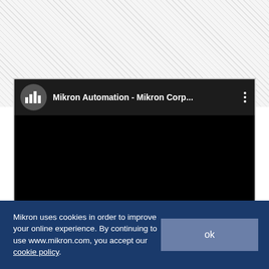[Figure (screenshot): YouTube-style embedded video player showing 'Mikron Automation - Mikron Corp...' channel with dark/black video body and three-dot menu icon. The video content area is black.]
Mikron uses cookies in order to improve your online experience. By continuing to use www.mikron.com, you accept our cookie policy.